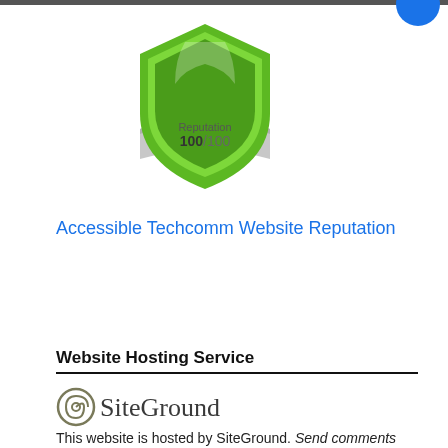[Figure (illustration): A green shield badge with 'Reputation 100/100' text and silver ribbon banner]
Accessible Techcomm Website Reputation
Website Hosting Service
[Figure (logo): SiteGround logo with spiral icon and stylized text]
This website is hosted by SiteGround. Send comments about any problems with the functional performance of this website using the Contact Us form or send a message to us.